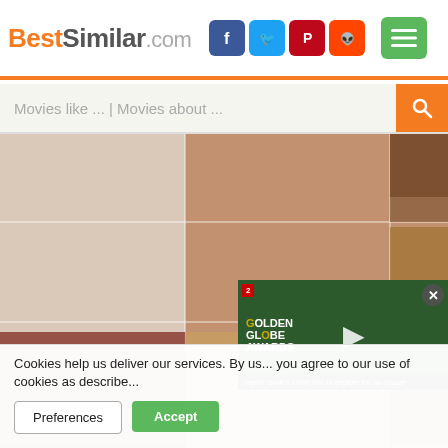BestSimilar.com
Movies like ... | Movies about ...
[Figure (photo): Collage of movie poster images featuring a woman's face, split across multiple grid tiles showing various time periods. A video overlay in the lower right shows Taylor Swift at the Golden Globe Awards.]
Cookies help us deliver our services. By us... you agree to our use of cookies as describe...
Taylor Swift's short film is eligible for an Oscar
Preferences
Accept